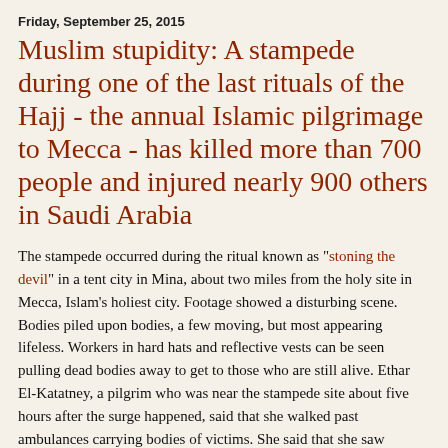Friday, September 25, 2015
Muslim stupidity: A stampede during one of the last rituals of the Hajj - the annual Islamic pilgrimage to Mecca - has killed more than 700 people and injured nearly 900 others in Saudi Arabia
The stampede occurred during the ritual known as "stoning the devil" in a tent city in Mina, about two miles from the holy site in Mecca, Islam's holiest city. Footage showed a disturbing scene. Bodies piled upon bodies, a few moving, but most appearing lifeless. Workers in hard hats and reflective vests can be seen pulling dead bodies away to get to those who are still alive. Ethar El-Katatney, a pilgrim who was near the stampede site about five hours after the surge happened, said that she walked past ambulances carrying bodies of victims. She said that she saw numerous police officers and medical personnel in the area. "I saw the ambulances, I saw bodies. ... At least 20, 30 ambulances passed me by," she said. Hundreds have been killed in past years during the same ceremony, and it comes only 13 days after a crane collapsed killing dozens at the mosque, the largest in the world.